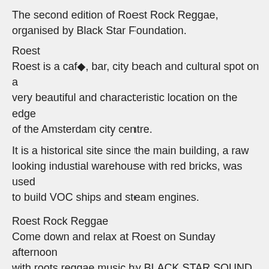The second edition of Roest Rock Reggae, organised by Black Star Foundation.
Roest
Roest is a caf■, bar, city beach and cultural spot on a very beautiful and characteristic location on the edge of the Amsterdam city centre.
It is a historical site since the main building, a raw looking industial warehouse with red bricks, was used to build VOC ships and steam engines.
Roest Rock Reggae
Come down and relax at Roest on Sunday afternoon with roots reggae music by BLACK STAR SOUND ft. DEN-DEN and BACK-A-WALL MOVEMENT ft. PAPA HOBBOL & JAHFORD. Special guest: LEAH ROSIER!
From 16:00 till 20:30 (because of the World Cup Finals at 21:00!)
FREE ENTRANCE!